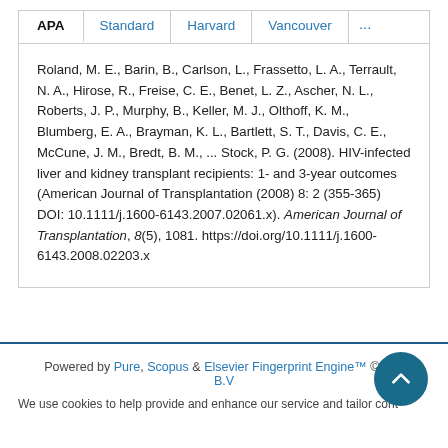Roland, M. E., Barin, B., Carlson, L., Frassetto, L. A., Terrault, N. A., Hirose, R., Freise, C. E., Benet, L. Z., Ascher, N. L., Roberts, J. P., Murphy, B., Keller, M. J., Olthoff, K. M., Blumberg, E. A., Brayman, K. L., Bartlett, S. T., Davis, C. E., McCune, J. M., Bredt, B. M., ... Stock, P. G. (2008). HIV-infected liver and kidney transplant recipients: 1- and 3-year outcomes (American Journal of Transplantation (2008) 8: 2 (355-365) DOI: 10.1111/j.1600-6143.2007.02061.x). American Journal of Transplantation, 8(5), 1081. https://doi.org/10.1111/j.1600-6143.2008.02203.x
Powered by Pure, Scopus & Elsevier Fingerprint Engine™ © 2024 Elsevier B.V